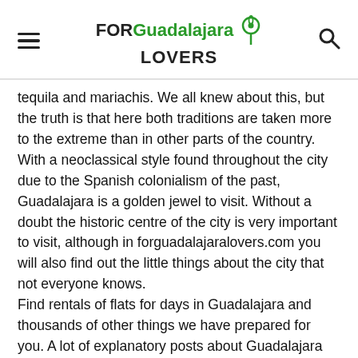FOR Guadalajara LOVERS
tequila and mariachis. We all knew about this, but the truth is that here both traditions are taken more to the extreme than in other parts of the country. With a neoclassical style found throughout the city due to the Spanish colonialism of the past, Guadalajara is a golden jewel to visit. Without a doubt the historic centre of the city is very important to visit, although in forguadalajaralovers.com you will also find out the little things about the city that not everyone knows.
Find rentals of flats for days in Guadalajara and thousands of other things we have prepared for you. A lot of explanatory posts about Guadalajara are waiting for you so that you can develop yourself as much as possible in the city. For us, it is the most beautiful city in the world, and for you it will soon be too!